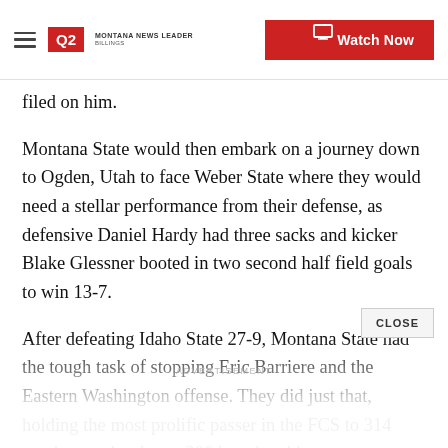Q2 Montana News Leader | Watch Now
filed on him.
Montana State would then embark on a journey down to Ogden, Utah to face Weber State where they would need a stellar performance from their defense, as defensive Daniel Hardy had three sacks and kicker Blake Glessner booted in two second half field goals to win 13-7.
After defeating Idaho State 27-9, Montana State had the tough task of stopping Eric Barriere and the Eastern Washington offense. They did just that, holding the most prolific passer in the FCS to 314 passing yards, almost 200 less than his season average to win 23-20. The Bobcats would reach No. 3 in the